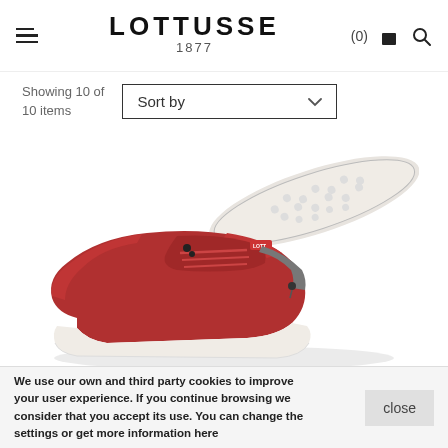LOTTUSSE 1877
Showing 10 of 10 items
Sort by
[Figure (photo): Red lace-up sneaker shoes from Lottusse 1877 brand, showing a pair — one upright from the side showing the red leather upper and white sole, and one flipped showing the white textured rubber outsole.]
We use our own and third party cookies to improve your user experience. If you continue browsing we consider that you accept its use. You can change the settings or get more information here